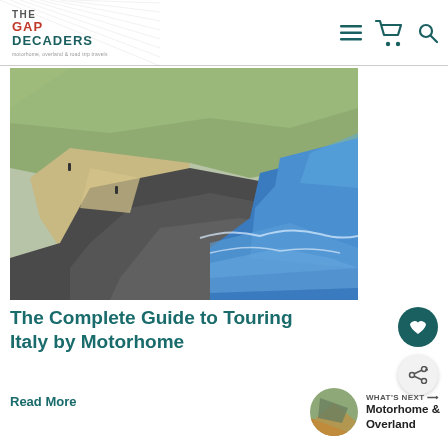THE GAP DECADERS - motorhome, overland & road trip travels
[Figure (photo): Aerial coastal landscape showing rocky shoreline with blue ocean waves, sandy path, and green terrain]
The Complete Guide to Touring Italy by Motorhome
Read More
WHAT'S NEXT → Motorhome & Overland